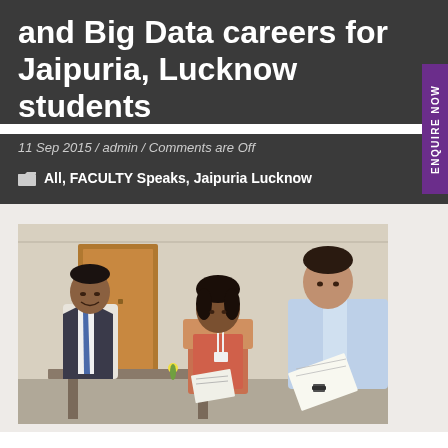and Big Data careers for Jaipuria, Lucknow students
11 Sep 2015 / admin / Comments are Off
All, FACULTY Speaks, Jaipuria Lucknow
[Figure (photo): Three people seated in an office setting — a man in a suit and tie smiling on the left, a woman with a lanyard in the center, and a young man looking at papers on the right. There are plants and a table with items in the foreground.]